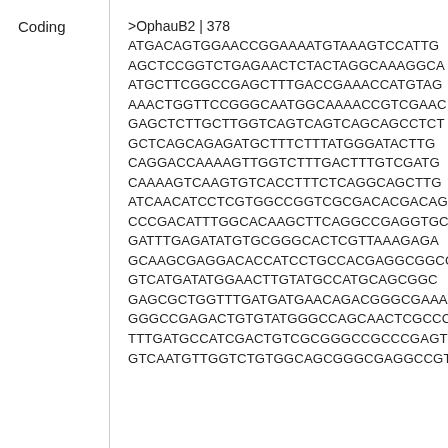Coding
>OphauB2|378
ATGACAGTGGAACCGGAAAATGTAAAGTCCATTG
AGCTCCGGTCTGAGAACTCTACTAGGCAAAGGCA
ATGCTTCGGCCGAGCTTTGACCGAAACCATGTAG
AAAGTGGTTCCGGGCAATGGCAAAACCGTCGAAC
GAGCTCTTGCTTGGTCAGTCAGTCAGCAGCCTCT
GCTCAGCAGAGATGCTTTCTTTATGGGATACTTG
CAGGACCAAAAGTTGGTCTTTGACTTTGTCGATG
CAAAAGTCAAGTGTCACCTTTCTCAGGCAGCTTG
ATCAACAТCCТCGТGGCCGGТCGCGАCАCGАCAG
CCCGACATTTGGCACAАGCTТCAGGCCGAGGТGCA
GATTТGAGATATGТGCGGGCACТCGТТAAAGAGA
GCAAGCGAGGACACCATCCТGCCACGAGGCGGCG
GТCATGATATGGAACТТGТАТGCCATGCAGCGGC
GAGCGCТGGТТТGATGATGAACAGACGGGCGAAA
GGGCCGAGACТGТGТАТGGGCCAGCAAСТCGCCC
ТТТGATGCCATCGACТGТCGCGGGCCGCCCGAGT
GТCAAТGТТGGТCТGТGGCAGCGGGCGAGGCCGТ